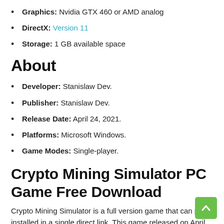Graphics: Nvidia GTX 460 or AMD analog
DirectX: Version 11
Storage: 1 GB available space
About
Developer: Stanislaw Dev.
Publisher: Stanislaw Dev.
Release Date: April 24, 2021.
Platforms: Microsoft Windows.
Game Modes: Single-player.
Crypto Mining Simulator PC Game Free Download
Crypto Mining Simulator is a full version game that can pre-installed in a single direct link. This game released on April 24, 2021. Make sure to run the game as an administrator.